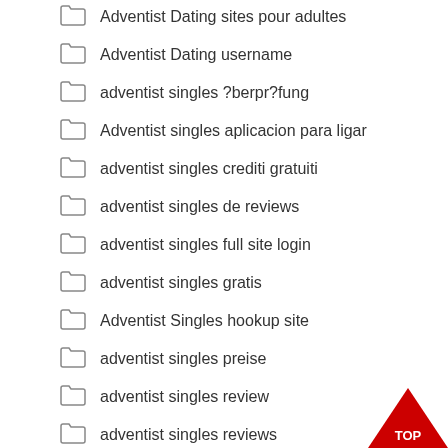Adventist Dating sites pour adultes
Adventist Dating username
adventist singles ?berpr?fung
Adventist singles aplicacion para ligar
adventist singles crediti gratuiti
adventist singles de reviews
adventist singles full site login
adventist singles gratis
Adventist Singles hookup site
adventist singles preise
adventist singles review
adventist singles reviews